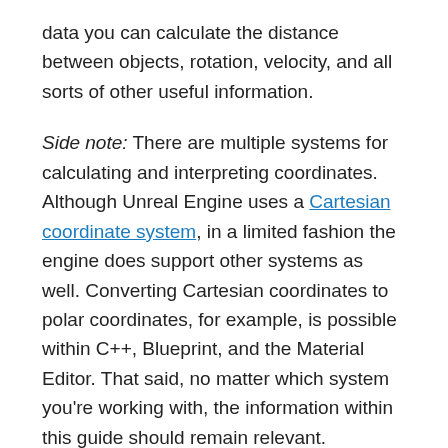data you can calculate the distance between objects, rotation, velocity, and all sorts of other useful information.
Side note: There are multiple systems for calculating and interpreting coordinates. Although Unreal Engine uses a Cartesian coordinate system, in a limited fashion the engine does support other systems as well. Converting Cartesian coordinates to polar coordinates, for example, is possible within C++, Blueprint, and the Material Editor. That said, no matter which system you're working with, the information within this guide should remain relevant.
Finding direction